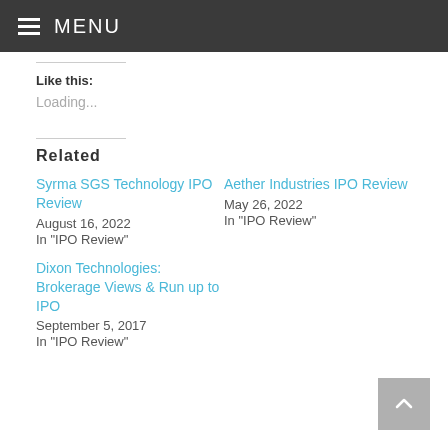MENU
Like this:
Loading...
Related
Syrma SGS Technology IPO Review
August 16, 2022
In "IPO Review"
Aether Industries IPO Review
May 26, 2022
In "IPO Review"
Dixon Technologies: Brokerage Views & Run up to IPO
September 5, 2017
In "IPO Review"